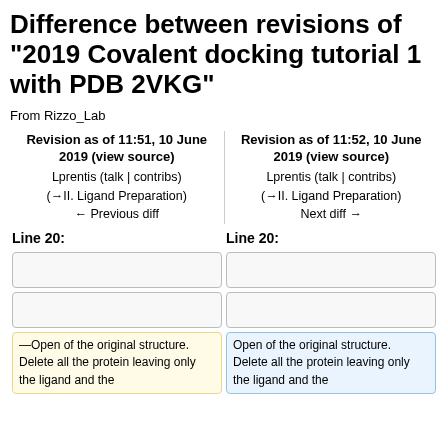Difference between revisions of "2019 Covalent docking tutorial 1 with PDB 2VKG"
From Rizzo_Lab
| Revision as of 11:51, 10 June 2019 (view source) | Revision as of 11:52, 10 June 2019 (view source) |
| --- | --- |
| Lprentis (talk | contribs) | Lprentis (talk | contribs) |
| (→II. Ligand Preparation) | (→II. Ligand Preparation) |
| ← Previous diff | Next diff → |
Line 20:
Line 20:
—Open of the original structure. Delete all the protein leaving only the ligand and the...
Open of the original structure. Delete all the protein leaving only the ligand and the...